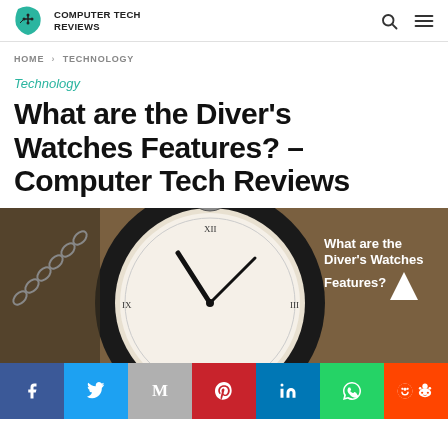COMPUTER TECH REVIEWS
HOME > TECHNOLOGY
Technology
What are the Diver's Watches Features? – Computer Tech Reviews
[Figure (photo): Close-up of a dark antique pocket watch face with Roman numerals, with overlay text 'What are the Diver's Watches Features?' and a white triangle/play icon]
Social share bar: Facebook, Twitter, Mail, Pinterest, LinkedIn, WhatsApp, Reddit